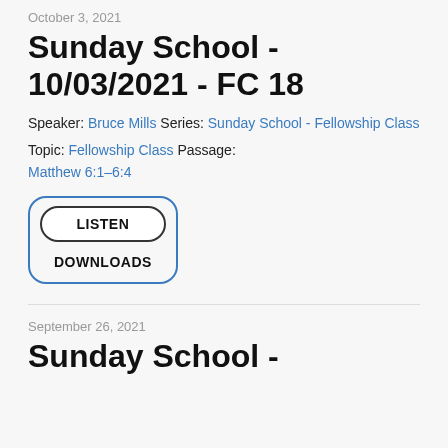October 3, 2021
Sunday School - 10/03/2021 - FC 18
Speaker: Bruce Mills Series: Sunday School - Fellowship Class
Topic: Fellowship Class Passage: Matthew 6:1–6:4
[Figure (other): UI widget with LISTEN button (pill/oval shaped, black border) and DOWNLOADS text, both enclosed in a blue rounded rectangle border]
September 26, 2021
Sunday School -